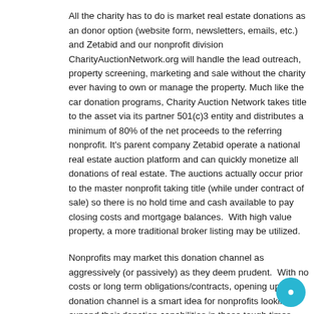All the charity has to do is market real estate donations as an donor option (website form, newsletters, emails, etc.) and Zetabid and our nonprofit division CharityAuctionNetwork.org will handle the lead outreach, property screening, marketing and sale without the charity ever having to own or manage the property. Much like the car donation programs, Charity Auction Network takes title to the asset via its partner 501(c)3 entity and distributes a minimum of 80% of the net proceeds to the referring nonprofit. It's parent company Zetabid operate a national real estate auction platform and can quickly monetize all donations of real estate. The auctions actually occur prior to the master nonprofit taking title (while under contract of sale) so there is no hold time and cash available to pay closing costs and mortgage balances.  With high value property, a more traditional broker listing may be utilized.
Nonprofits may market this donation channel as aggressively (or passively) as they deem prudent.  With no costs or long term obligations/contracts, opening up this donation channel is a smart idea for nonprofits looking to expand their donation capabilities in these tough times.